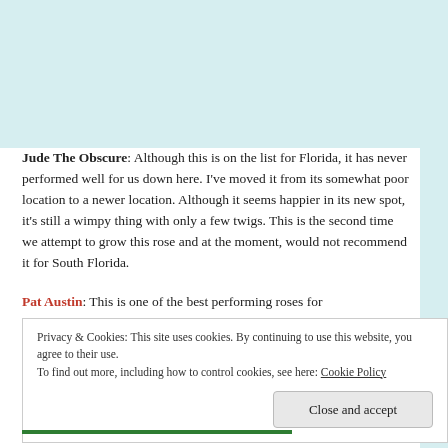Jude The Obscure: Although this is on the list for Florida, it has never performed well for us down here. I've moved it from its somewhat poor location to a newer location. Although it seems happier in its new spot, it's still a wimpy thing with only a few twigs. This is the second time we attempt to grow this rose and at the moment, would not recommend it for South Florida.
Pat Austin: This is one of the best performing roses for
Privacy & Cookies: This site uses cookies. By continuing to use this website, you agree to their use. To find out more, including how to control cookies, see here: Cookie Policy